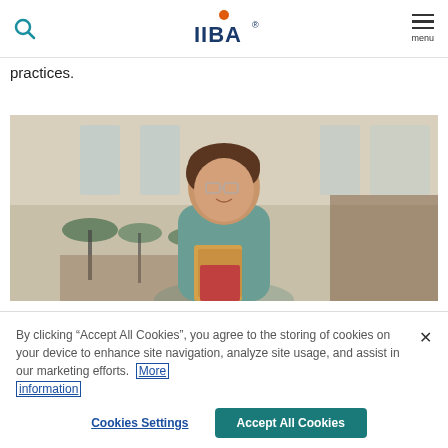IIBA (logo), search icon, menu
practices.
[Figure (photo): Young woman with short brown hair and glasses, wearing a teal turtleneck top, holding folders/books, standing in a bright library or cafe interior]
By clicking “Accept All Cookies”, you agree to the storing of cookies on your device to enhance site navigation, analyze site usage, and assist in our marketing efforts. More information
Cookies Settings   Accept All Cookies